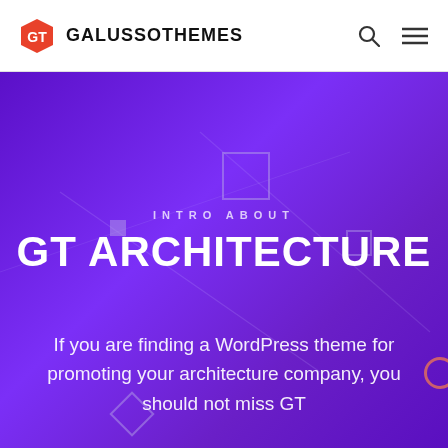GALUSSOTHEMES
INTRO ABOUT
GT ARCHITECTURE
If you are finding a WordPress theme for promoting your architecture company, you should not miss GT